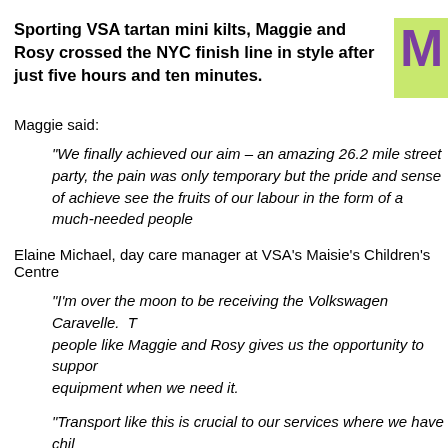Sporting VSA tartan mini kilts, Maggie and Rosy crossed the NYC finish line in style after just five hours and ten minutes.
Maggie said:
“We finally achieved our aim – an amazing 26.2 mile street party, the pain was only temporary but the pride and sense of achievement is permanent. We can’t wait to see the fruits of our labour in the form of a much-needed people carrier.”
Elaine Michael, day care manager at VSA’s Maisie’s Children’s Centre, said:
“I’m over the moon to be receiving the Volkswagen Caravelle. The dedication of people like Maggie and Rosy gives us the opportunity to source high-quality equipment when we need it.
“Transport like this is crucial to our services where we have children who need to get out and about on trips and to support parents who need transport. The Caravelle, which seats up to seven, is ideal for us.